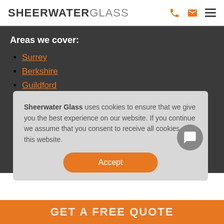SHEERWATER GLASS
Areas we cover:
Surrey
Berkshire
Guildford
Woking
Middlesex
Sheerwater Glass uses cookies to ensure that we give you the best experience on our website. If you continue we assume that you consent to receive all cookies on this website.
Accept
GET A FREE QUOTE